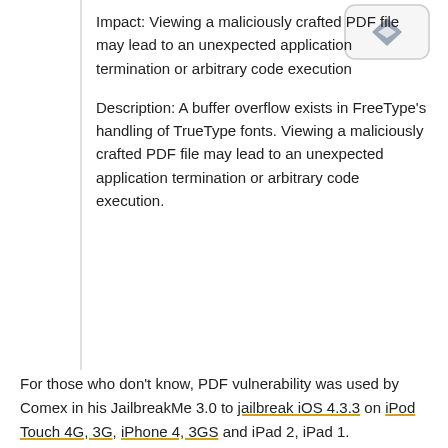[Figure (illustration): A rounded rectangle icon box with a downward arrow/diamond icon inside, partially visible at top right]
Impact: Viewing a maliciously crafted PDF file may lead to an unexpected application termination or arbitrary code execution
Description: A buffer overflow exists in FreeType's handling of TrueType fonts. Viewing a maliciously crafted PDF file may lead to an unexpected application termination or arbitrary code execution.
For those who don't know, PDF vulnerability was used by Comex in his JailbreakMe 3.0 to jailbreak iOS 4.3.3 on iPod Touch 4G, 3G, iPhone 4, 3GS and iPad 2, iPad 1.